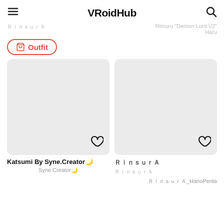VRoidHub
ＲｉｎｓｕｒＡ　　　Rimuru "Demon Lord V2" Haru
Outfit
[Figure (screenshot): VRoid Hub outfit listing card with placeholder image, heart/like button, title Katsumi By Syne.Creator🌙, creator Syne.Creator🌙]
[Figure (screenshot): VRoid Hub outfit listing card with placeholder image, heart/like button, title ＲｉｎｓｕｒＡ, subtitle ＲｉｎｓｕｒＡ, creator ＲｉｎｓｕｒＡ_HanoPenta]
Katsumi By Syne.Creator🌙
Syne.Creator🌙
ＲｉｎｓｕｒＡ
ＲｉｎｓｕｒＡ
ＲｉｎｓｕｒＡ_HanoPenta